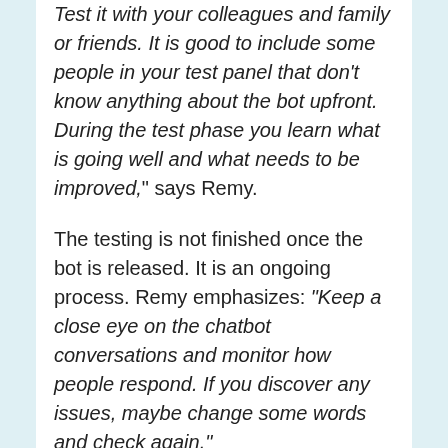Test it with your colleagues and family or friends. It is good to include some people in your test panel that don't know anything about the bot upfront. During the test phase you learn what is going well and what needs to be improved," says Remy.
The testing is not finished once the bot is released. It is an ongoing process. Remy emphasizes: “Keep a close eye on the chatbot conversations and monitor how people respond. If you discover any issues, maybe change some words and check again.”
To make the testing process easier for